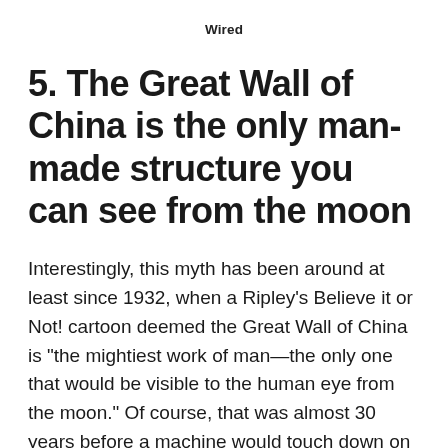Wired
5. The Great Wall of China is the only man-made structure you can see from the moon
Interestingly, this myth has been around at least since 1932, when a Ripley's Believe it or Not! cartoon deemed the Great Wall of China is “the mightiest work of man—the only one that would be visible to the human eye from the moon.” Of course, that was almost 30 years before a machine would touch down on the moon, so the claim was entirely unfounded. Astronauts have now confirmed that even the Great Wall actually can’t be seen from